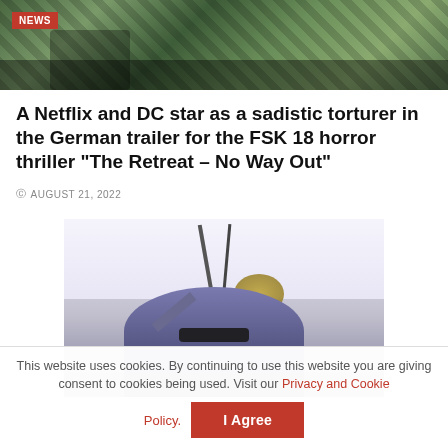[Figure (photo): Top banner image showing camouflage clothing with a red NEWS badge overlay]
A Netflix and DC star as a sadistic torturer in the German trailer for the FSK 18 horror thriller “The Retreat – No Way Out”
AUGUST 21, 2022
[Figure (photo): A person wearing sunglasses holding up what appears to be a weapon or pole against a bright sky background]
This website uses cookies. By continuing to use this website you are giving consent to cookies being used. Visit our Privacy and Cookie Policy.